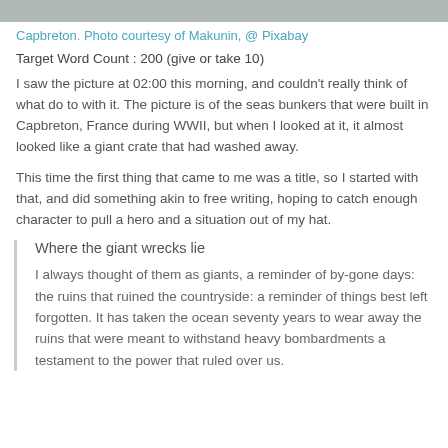[Figure (photo): Top strip showing part of a photo of Capbreton sea bunkers]
Capbreton. Photo courtesy of Makunin, @ Pixabay
Target Word Count : 200 (give or take 10)
I saw the picture at 02:00 this morning, and couldn’t really think of what do to with it.  The picture is of the seas bunkers that were built in Capbreton, France during WWII, but when I looked at it, it almost looked like a giant crate that had washed away.
This time the first thing that came to me was a title, so I started with that, and did something akin to free writing, hoping to catch enough character to pull a hero and a situation out of my hat.
Where the giant wrecks lie
I always thought of them as giants, a reminder of by-gone days:  the ruins that ruined the countryside: a reminder of things best left forgotten.   It has taken the ocean seventy years to wear away the ruins that were meant to withstand heavy bombardments a testament to the power that ruled over us.